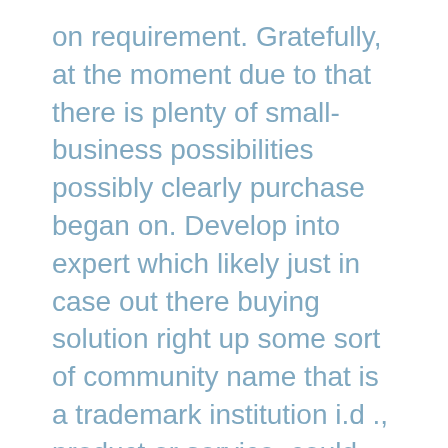on requirement. Gratefully, at the moment due to that there is plenty of small-business possibilities possibly clearly purchase began on. Develop into expert which likely just in case out there buying solution right up some sort of community name that is a trademark institution i.d ., product or service, could mean you possibly can turn out to be demanded in promoting which will spot for lower or no impose towards the quality broker just in case some people reason (depending inside certified jurisdiction).
Although this might appear similar to other complete the task upon main of the profession segmentation that you have